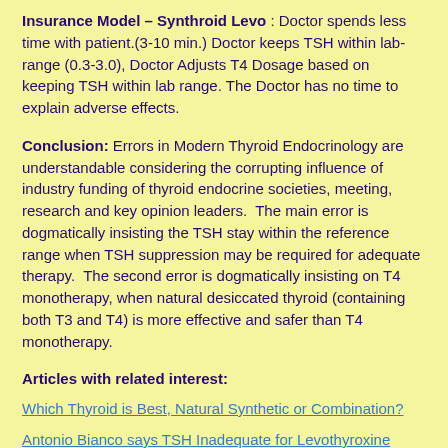Insurance Model – Synthroid Levo : Doctor spends less time with patient.(3-10 min.) Doctor keeps TSH within lab-range (0.3-3.0), Doctor Adjusts T4 Dosage based on keeping TSH within lab range. The Doctor has no time to explain adverse effects.
Conclusion: Errors in Modern Thyroid Endocrinology are understandable considering the corrupting influence of industry funding of thyroid endocrine societies, meeting, research and key opinion leaders.  The main error is dogmatically insisting the TSH stay within the reference range when TSH suppression may be required for adequate therapy.  The second error is dogmatically insisting on T4 monotherapy, when natural desiccated thyroid (containing both T3 and T4) is more effective and safer than T4 monotherapy.
Articles with related interest:
Which Thyroid is Best, Natural Synthetic or Combination?
Antonio Bianco says TSH Inadequate for Levothyroxine Dosage
TSH Suppression, Benefits and Adverse Effects